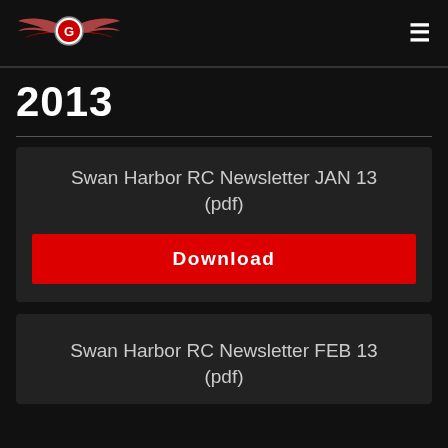[Figure (logo): Swan Harbor RC club logo with winged emblem in red, white and grey on black background]
2013
Swan Harbor RC Newsletter JAN 13 (pdf)
Download
Swan Harbor RC Newsletter FEB 13 (pdf)